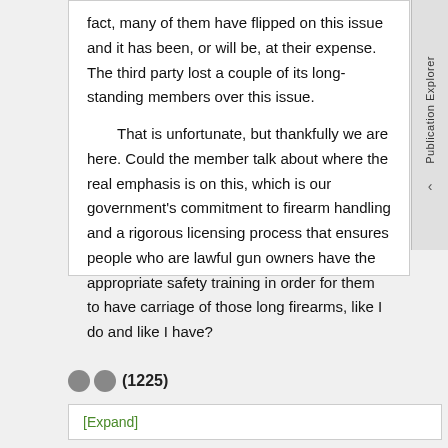fact, many of them have flipped on this issue and it has been, or will be, at their expense. The third party lost a couple of its long-standing members over this issue.
That is unfortunate, but thankfully we are here. Could the member talk about where the real emphasis is on this, which is our government's commitment to firearm handling and a rigorous licensing process that ensures people who are lawful gun owners have the appropriate safety training in order for them to have carriage of those long firearms, like I do and like I have?
(1225)
[Expand]